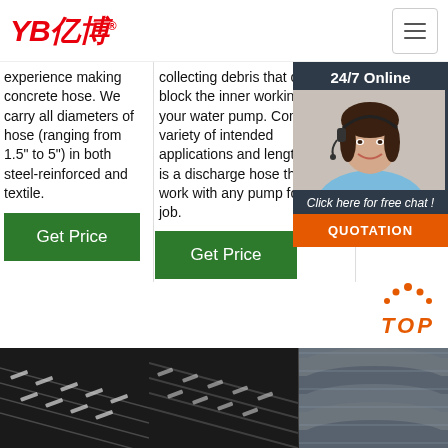YB亿博
experience making concrete hose. We carry all diameters of hose (ranging from 1.5" to 5") in both steel-reinforced and textile.
collecting debris that can block the inner workings of your water pump. Coming in a variety of intended applications and lengths, there is a discharge hose that will work with any pump for every job.
to 3x more abrasion resi rub
[Figure (photo): Customer service representative wearing headset with 24/7 Online chat overlay, Click here for free chat text, and QUOTATION button]
[Figure (photo): Three product photos of rubber hoses/pipes at bottom of page]
[Figure (logo): TOP navigation button with orange dots and text]